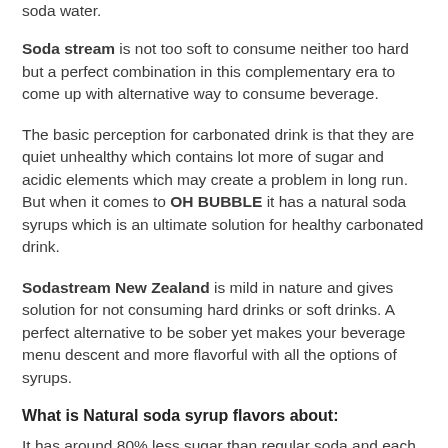soda water.
Soda stream is not too soft to consume neither too hard but a perfect combination in this complementary era to come up with alternative way to consume beverage.
The basic perception for carbonated drink is that they are quiet unhealthy which contains lot more of sugar and acidic elements which may create a problem in long run. But when it comes to OH BUBBLE it has a natural soda syrups which is an ultimate solution for healthy carbonated drink.
Sodastream New Zealand is mild in nature and gives solution for not consuming hard drinks or soft drinks. A perfect alternative to be sober yet makes your beverage menu descent and more flavorful with all the options of syrups.
What is Natural soda syrup flavors about:
It has around 80% less sugar than regular soda and each